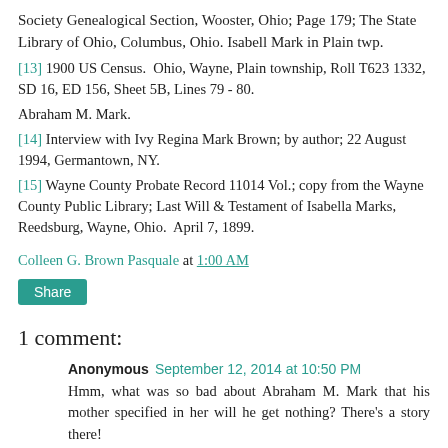Society Genealogical Section, Wooster, Ohio; Page 179; The State Library of Ohio, Columbus, Ohio. Isabell Mark in Plain twp.
[13] 1900 US Census.  Ohio, Wayne, Plain township, Roll T623 1332, SD 16, ED 156, Sheet 5B, Lines 79 - 80.
Abraham M. Mark.
[14] Interview with Ivy Regina Mark Brown; by author; 22 August 1994, Germantown, NY.
[15] Wayne County Probate Record 11014 Vol.; copy from the Wayne County Public Library; Last Will & Testament of Isabella Marks, Reedsburg, Wayne, Ohio.  April 7, 1899.
Colleen G. Brown Pasquale at 1:00 AM
Share
1 comment:
Anonymous September 12, 2014 at 10:50 PM
Hmm, what was so bad about Abraham M. Mark that his mother specified in her will he get nothing? There's a story there!